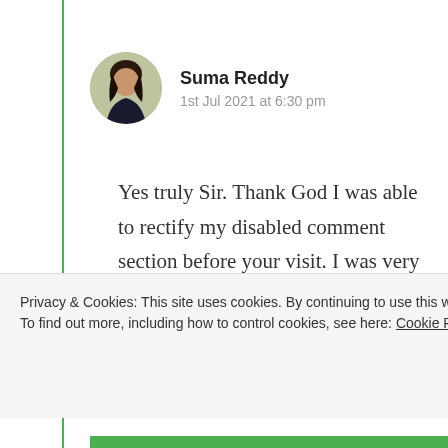Suma Reddy
1st Jul 2021 at 6:30 pm
Yes truly Sir. Thank God I was able to rectify my disabled comment section before your visit. I was very very upset n felt that my heart has been blocked coz I couldn't digest seeing my comments being freezed with no
Privacy & Cookies: This site uses cookies. By continuing to use this website, you agree to their use.
To find out more, including how to control cookies, see here: Cookie Policy
Close and accept